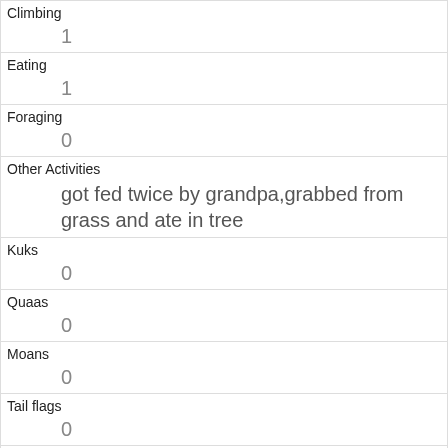| Field | Value |
| --- | --- |
| Climbing | 1 |
| Eating | 1 |
| Foraging | 0 |
| Other Activities | got fed twice by grandpa,grabbed from grass and ate in tree |
| Kuks | 0 |
| Quaas | 0 |
| Moans | 0 |
| Tail flags | 0 |
| Tail twitches | 0 |
| Approaches | 1 |